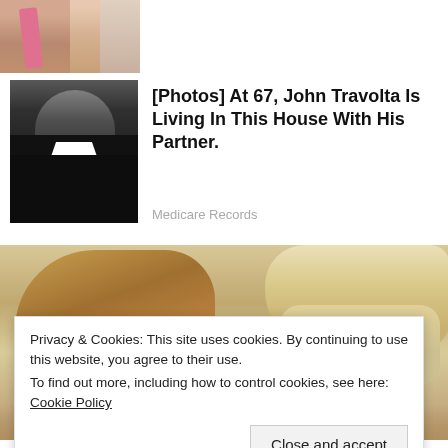[Figure (photo): Partial photo of two people, one wearing a pink tie, cropped at top of page]
[Figure (photo): Photo of a young John Travolta in a black jacket with white collar shirt]
[Photos] At 67, John Travolta Is Living In This House With His Partner.
Medicare Records
[Figure (photo): Large photo of two people, a blonde woman on the left and a person with blonde/light hair on the right, both cropped]
Privacy & Cookies: This site uses cookies. By continuing to use this website, you agree to their use.
To find out more, including how to control cookies, see here: Cookie Policy
Close and accept